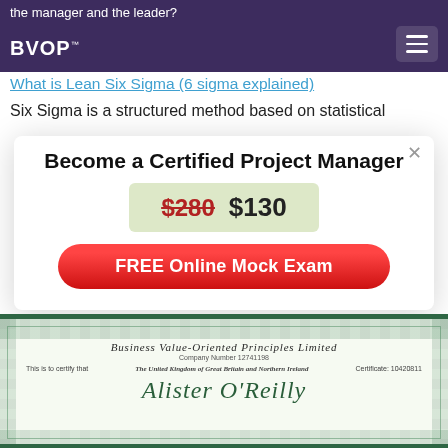the manager and the leader?
[Figure (logo): BVOP logo in white on dark purple header bar with hamburger menu icon]
What is Lean Six Sigma (6 sigma explained)
Six Sigma is a structured method based on statistical
Become a Certified Project Manager
$280  $130
FREE Online Mock Exam
[Figure (illustration): Certificate from Business Value-Oriented Principles Limited with name Alister O'Reilly, Company Number 12741198, issued in The United Kingdom of Great Britain and Northern Ireland]